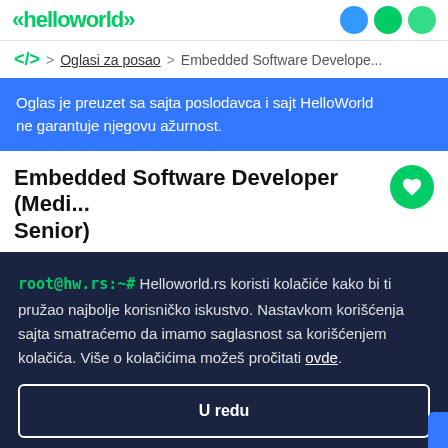helloworld > Oglasi za posao > Embedded Software Develope...
Oglas je preuzet sa sajta poslodavca i sajt HelloWorld ne garantuje njegovu ažurnost.
Embedded Software Developer (Medi... Senior)
root@hw.rs:~# Helloworld.rs koristi kolačiće kako bi ti pružao najbolje korisničko iskustvo. Nastavkom korišćenja sajta smatraćemo da imamo saglasnost sa korišćenjem kolačića. Više o kolačićima možeš pročitati ovde.
U redu